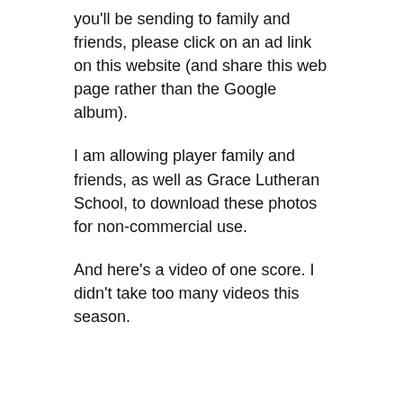you'll be sending to family and friends, please click on an ad link on this website (and share this web page rather than the Google album).
I am allowing player family and friends, as well as Grace Lutheran School, to download these photos for non-commercial use.
And here's a video of one score. I didn't take too many videos this season.